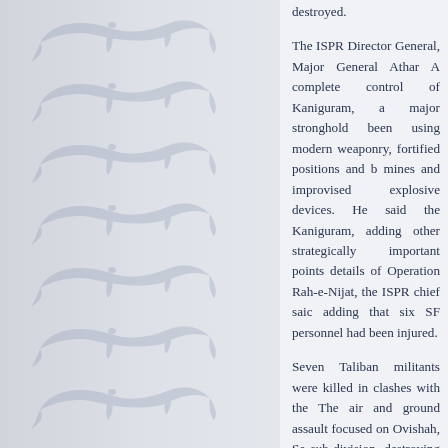[Figure (illustration): Left sidebar with repeating watermark/emblem of a bird silhouette on a light grey gradient background]
destroyed.

The ISPR Director General, Major General Athar Abbas, claimed complete control of Kaniguram, a major stronghold of militants who had been using modern weaponry, fortified positions and had laid anti-tank mines and improvised explosive devices. He said the troops had captured Kaniguram, adding other strategically important points had also been taken. Giving details of Operation Rah-e-Nijat, the ISPR chief said 10 militants were killed, adding that six SF personnel had been injured.

Seven Taliban militants were killed in clashes with the security forces. The air and ground assault focused on Ovishah, Seobar and Kabal sub-division, destroying four terrorist hideouts. The attacks targeted Mulla Said and Mataak in the Salarzai sub-division.

November 1: The SFs killed 16 TTP militants and injured others in Rah-e-Nijat in the South Waziristan Agency. In the battle for the Kaniguram strongholds, SFs killed six militants and injured four others. Operations in Gadawai, Maidaan and Makeen killed five militants and injured several others.

October 31: 33 Taliban militants were killed in the defense of the town in the Sararogha area. Four army personnel were injured in the battle for Sararogha," the statement added. "The town has been captured and all enemy positions and ridges around Sararogha have been cleared. We are in the process of moving forward, intense exchanges of fire are going on. The military will begin its clearance operation of Sararogha due to the presence of terrorists in the town," ISPR Director General said.

Pakistan Air Force fighter planes bombed militant hideouts near Orakzai, killing 15 Taliban militants. Official sources said jet fighters bombed Taliban chief Hakeemullah Mehsud in Orakzai, killing at lea